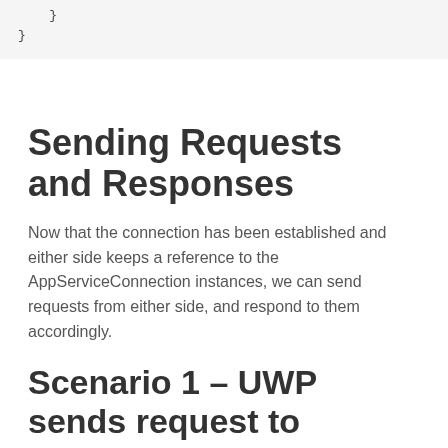}
}
Sending Requests and Responses
Now that the connection has been established and either side keeps a reference to the AppServiceConnection instances, we can send requests from either side, and respond to them accordingly.
Scenario 1 – UWP sends request to desktop extension
UWP apps don't have access to the registry. Let's